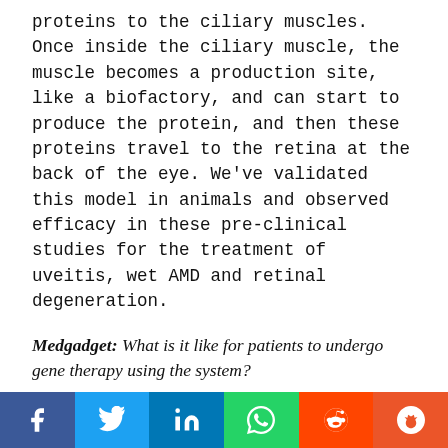proteins to the ciliary muscles. Once inside the ciliary muscle, the muscle becomes a production site, like a biofactory, and can start to produce the protein, and then these proteins travel to the retina at the back of the eye. We've validated this model in animals and observed efficacy in these pre-clinical studies for the treatment of uveitis, wet AMD and retinal degeneration.
Medgadget: What is it like for patients to undergo gene therapy using the system?
Zilliox: For patients, knowing that they can treat these conditions in a minimally invasive way can be a relief, especially when considering alternatives, such as ocular implants, or a treatment requiring multiple administrations. Additionally, we are really